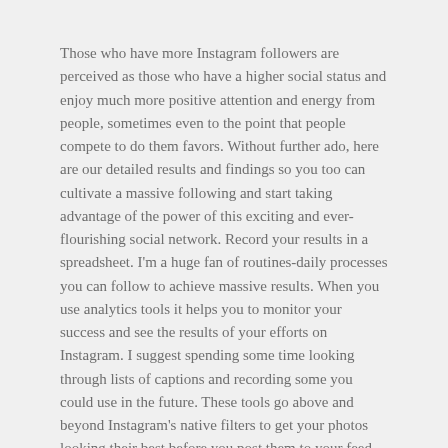Those who have more Instagram followers are perceived as those who have a higher social status and enjoy much more positive attention and energy from people, sometimes even to the point that people compete to do them favors. Without further ado, here are our detailed results and findings so you too can cultivate a massive following and start taking advantage of the power of this exciting and ever-flourishing social network. Record your results in a spreadsheet. I'm a huge fan of routines-daily processes you can follow to achieve massive results. When you use analytics tools it helps you to monitor your success and see the results of your efforts on Instagram. I suggest spending some time looking through lists of captions and recording some you could use in the future. These tools go above and beyond Instagram's native filters to get your photos looking their best before you post them to your feed.